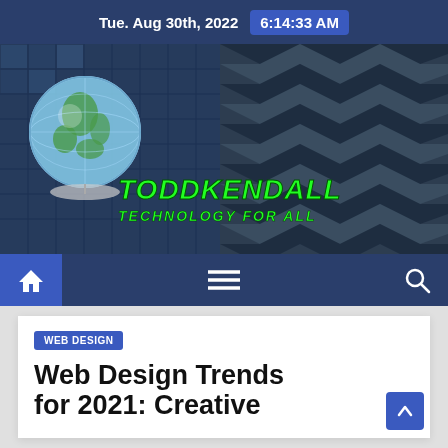Tue. Aug 30th, 2022  6:14:33 AM
[Figure (logo): ToddKendall Technology For All website banner with globe graphic and green stylized text logo on dark building background]
Navigation bar with home icon, hamburger menu, and search icon
WEB DESIGN
Web Design Trends for 2021: Creative